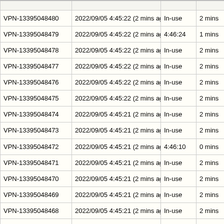| ID | Date | Status | Duration | Country |
| --- | --- | --- | --- | --- |
| VPN-13395048480 | 2022/09/05 4:45:22 (2 mins ago) | In-use | 2 mins | Russian |
| VPN-13395048479 | 2022/09/05 4:45:22 (2 mins ago) | 4:46:24 | 1 mins | Bangladesh |
| VPN-13395048478 | 2022/09/05 4:45:22 (2 mins ago) | In-use | 2 mins | Myanmar |
| VPN-13395048477 | 2022/09/05 4:45:22 (2 mins ago) | In-use | 2 mins | Netherlands |
| VPN-13395048476 | 2022/09/05 4:45:22 (2 mins ago) | In-use | 2 mins | Russian |
| VPN-13395048475 | 2022/09/05 4:45:22 (2 mins ago) | In-use | 2 mins | Taiwan |
| VPN-13395048474 | 2022/09/05 4:45:21 (2 mins ago) | In-use | 2 mins | Russian |
| VPN-13395048473 | 2022/09/05 4:45:21 (2 mins ago) | In-use | 2 mins | Russian |
| VPN-13395048472 | 2022/09/05 4:45:21 (2 mins ago) | 4:46:10 | 0 mins | Russian |
| VPN-13395048471 | 2022/09/05 4:45:21 (2 mins ago) | In-use | 2 mins | Russian |
| VPN-13395048470 | 2022/09/05 4:45:21 (2 mins ago) | In-use | 2 mins | Russian |
| VPN-13395048469 | 2022/09/05 4:45:21 (2 mins ago) | In-use | 2 mins | Philippines |
| VPN-13395048468 | 2022/09/05 4:45:21 (2 mins ago) | In-use | 2 mins | Saudi Arabia |
| VPN-13395048467 | 2022/09/05 4:45:21 (2 mins ago) | 4:47:15 | 1 mins | Uganda |